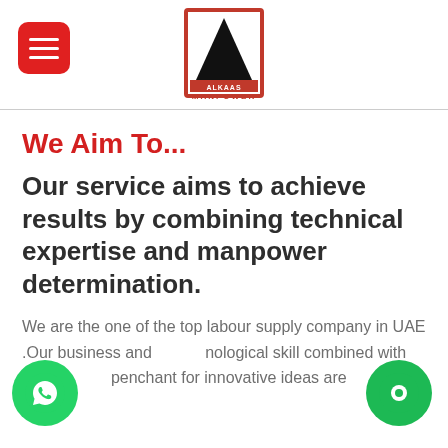ALKAAS MANPOWER logo header with hamburger menu
We Aim To...
Our service aims to achieve results by combining technical expertise and manpower determination.
We are the one of the top labour supply company in UAE .Our business and technological skill combined with creat penchant for innovative ideas are